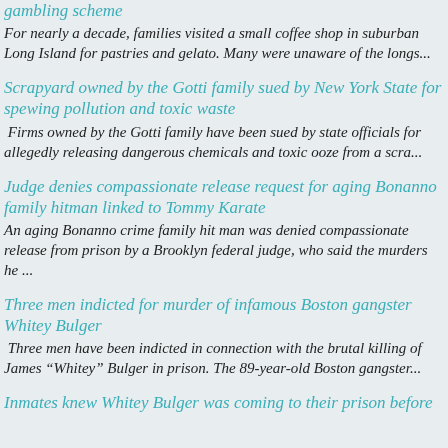gambling scheme
For nearly a decade, families visited a small coffee shop in suburban Long Island for pastries and gelato. Many were unaware of the longs...
Scrapyard owned by the Gotti family sued by New York State for spewing pollution and toxic waste
Firms owned by the Gotti family have been sued by state officials for allegedly releasing dangerous chemicals and toxic ooze from a scra...
Judge denies compassionate release request for aging Bonanno family hitman linked to Tommy Karate
An aging Bonanno crime family hit man was denied compassionate release from prison by a Brooklyn federal judge, who said the murders he ...
Three men indicted for murder of infamous Boston gangster Whitey Bulger
Three men have been indicted in connection with the brutal killing of James "Whitey" Bulger in prison. The 89-year-old Boston gangster...
Inmates knew Whitey Bulger was coming to their prison before